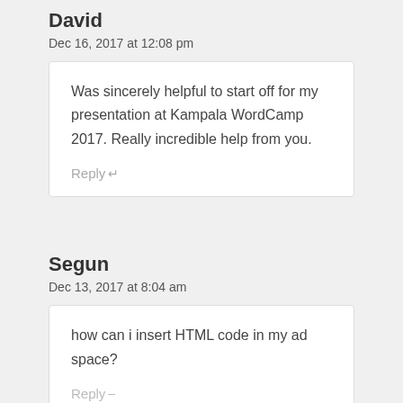David
Dec 16, 2017 at 12:08 pm
Was sincerely helpful to start off for my presentation at Kampala WordCamp 2017. Really incredible help from you.
Reply
Segun
Dec 13, 2017 at 8:04 am
how can i insert HTML code in my ad space?
Reply